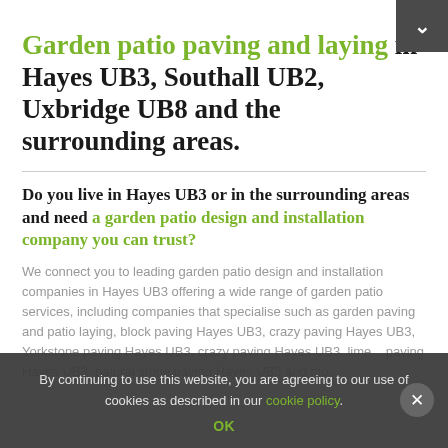Garden patio paving and laying in Hayes UB3, Southall UB2, Uxbridge UB8 and the surrounding areas.
Do you live in Hayes UB3 or in the surrounding areas and need a garden patio design and installation company you can trust?
We connect you to leading garden patio design and installation companies in Hayes UB3 offering a wide range of garden patio services, including companies that specialise such as garden paving and patio laying, block paving Hayes UB3, crazy paving Hayes UB3, Yorkstone paving Hayes UB3, crazy paving Hayes UB3, lime... paving Hayes UB3, natural stone paving Hayes UB3 and more...
By continuing to use this website, you are agreeing to our use of cookies as described in our cookie policy.
OK